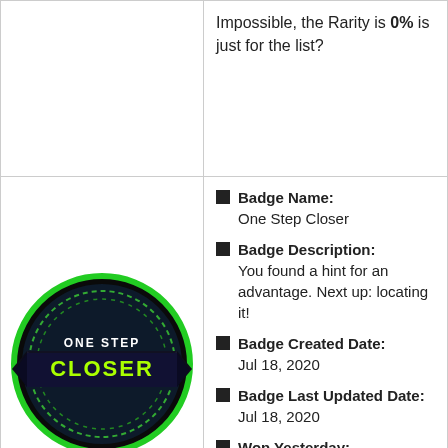Impossible, the Rarity is 0% is just for the list?
[Figure (illustration): Round dark badge with green glowing border, black banner across middle, text 'ONE STEP CLOSER' in yellow-green font]
Badge Name: One Step Closer
Badge Description: You found a hint for an advantage. Next up: locating it!
Badge Created Date: Jul 18, 2020
Badge Last Updated Date: Jul 18, 2020
Won Yesterday: 4785 (Dec 27, 2021)
Won Ever: 1663367 (Till Dec 28, 2021)